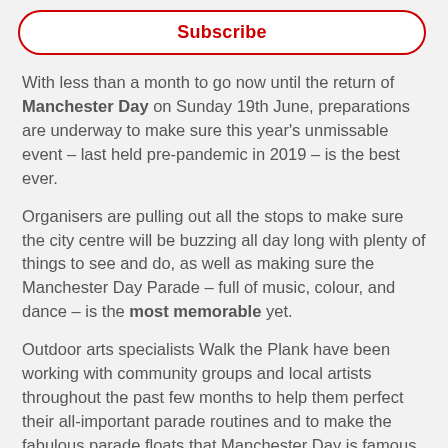[Figure (other): Subscribe button with red border and red bold text on white background]
With less than a month to go now until the return of Manchester Day on Sunday 19th June, preparations are underway to make sure this year's unmissable event – last held pre-pandemic in 2019 – is the best ever.
Organisers are pulling out all the stops to make sure the city centre will be buzzing all day long with plenty of things to see and do, as well as making sure the Manchester Day Parade – full of music, colour, and dance – is the most memorable yet.
Outdoor arts specialists Walk the Plank have been working with community groups and local artists throughout the past few months to help them perfect their all-important parade routines and to make the fabulous parade floats that Manchester Day is famous for, all in preparation for the big day.